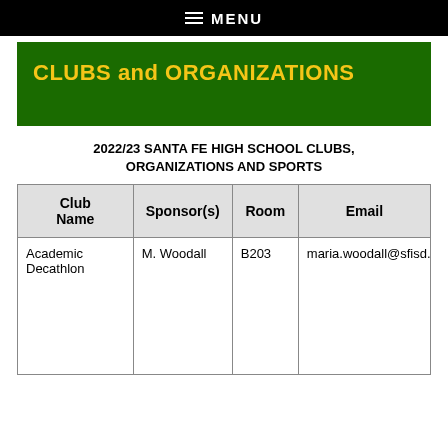MENU
CLUBS and ORGANIZATIONS
2022/23 SANTA FE HIGH SCHOOL CLUBS, ORGANIZATIONS AND SPORTS
| Club Name | Sponsor(s) | Room | Email |
| --- | --- | --- | --- |
| Academic Decathlon | M. Woodall | B203 | maria.woodall@sfisd.o |